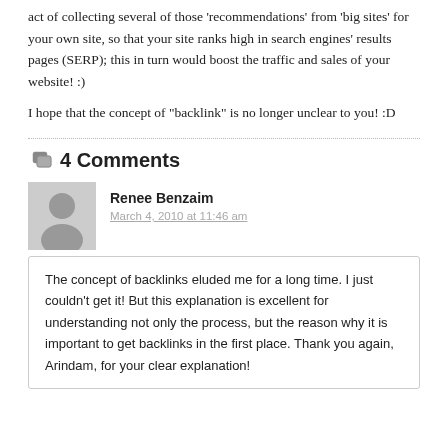act of collecting several of those 'recommendations' from 'big sites' for your own site, so that your site ranks high in search engines' results pages (SERP); this in turn would boost the traffic and sales of your website! :)
I hope that the concept of "backlink" is no longer unclear to you! :D
4 Comments
Renee Benzaim
March 4, 2010 at 11:46 am
The concept of backlinks eluded me for a long time. I just couldn't get it! But this explanation is excellent for understanding not only the process, but the reason why it is important to get backlinks in the first place. Thank you again, Arindam, for your clear explanation!